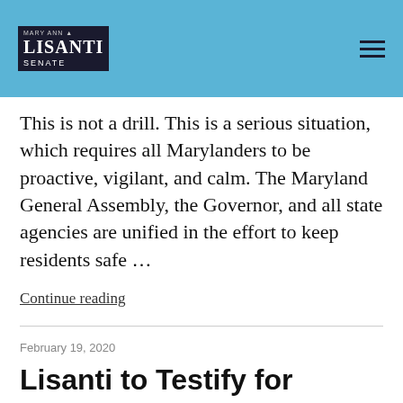Mary Ann Lisanti Senate
This is not a drill. This is a serious situation, which requires all Marylanders to be proactive, vigilant, and calm. The Maryland General Assembly, the Governor, and all state agencies are unified in the effort to keep residents safe …
Continue reading
February 19, 2020
Lisanti to Testify for Defense Workforce Opportunity Act